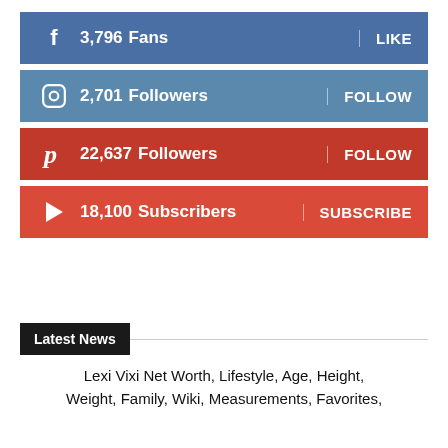3,796 Fans | LIKE (Facebook)
2,701 Followers | FOLLOW (Instagram)
22,637 Followers | FOLLOW (Pinterest)
18,100 Subscribers | SUBSCRIBE (YouTube)
Latest News
Lexi Vixi Net Worth, Lifestyle, Age, Height, Weight, Family, Wiki, Measurements, Favorites,